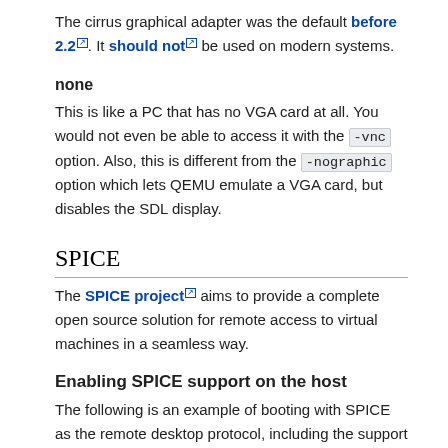The cirrus graphical adapter was the default before 2.2. It should not be used on modern systems.
none
This is like a PC that has no VGA card at all. You would not even be able to access it with the -vnc option. Also, this is different from the -nographic option which lets QEMU emulate a VGA card, but disables the SDL display.
SPICE
The SPICE project aims to provide a complete open source solution for remote access to virtual machines in a seamless way.
Enabling SPICE support on the host
The following is an example of booting with SPICE as the remote desktop protocol, including the support for copy and paste from host: